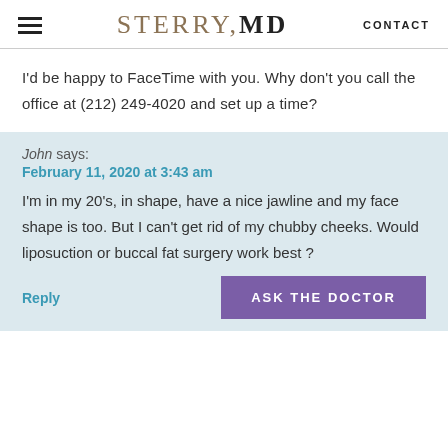STERRY,MD — CONTACT
I'd be happy to FaceTime with you. Why don't you call the office at (212) 249-4020 and set up a time?
John says:
February 11, 2020 at 3:43 am
I'm in my 20's, in shape, have a nice jawline and my face shape is too. But I can't get rid of my chubby cheeks. Would liposuction or buccal fat surgery work best?
Reply | ASK THE DOCTOR